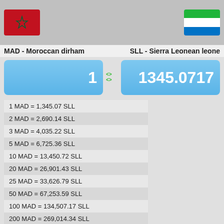[Figure (illustration): Moroccan flag (red with green star) and Sierra Leonean flag (green, white, blue stripes) in a grey header bar]
MAD - Moroccan dirham    SLL - Sierra Leonean leone
1   1345.0717
| 1 MAD = 1,345.07 SLL |
| 2 MAD = 2,690.14 SLL |
| 3 MAD = 4,035.22 SLL |
| 5 MAD = 6,725.36 SLL |
| 10 MAD = 13,450.72 SLL |
| 20 MAD = 26,901.43 SLL |
| 25 MAD = 33,626.79 SLL |
| 50 MAD = 67,253.59 SLL |
| 100 MAD = 134,507.17 SLL |
| 200 MAD = 269,014.34 SLL |
| 250 MAD = 336,267.93 SLL |
| 300 MAD = 403,521.51 SLL |
| 500 MAD = 672,535.85 SLL |